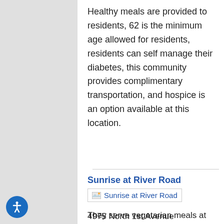Healthy meals are provided to residents, 62 is the minimum age allowed for residents, residents can self manage their diabetes, this community provides complimentary transportation, and hospice is an option available at this location.
Sunrise at River Road
[Figure (photo): Sunrise at River Road property image placeholder]
4975 North 1st Avenue
Tucson, AZ 85718
Get pricing!
They serve vegetarian meals at